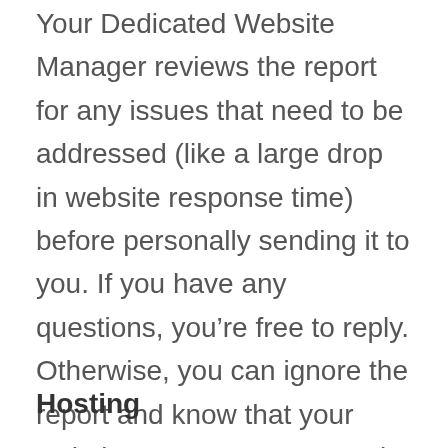Your Dedicated Website Manager reviews the report for any issues that need to be addressed (like a large drop in website response time) before personally sending it to you. If you have any questions, you're free to reply. Otherwise, you can ignore the report and know that your website management team is on it!
Hosting